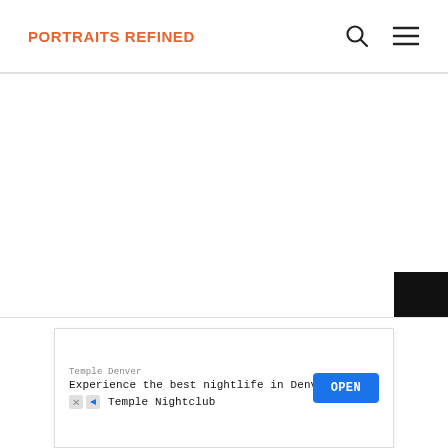PORTRAITS REFINED
[Figure (screenshot): Website header with logo 'PORTRAITS REFINED' in orange on the left, a search icon (magnifying glass) and hamburger menu icon on the right, with a horizontal divider below.]
[Figure (screenshot): Advertisement banner at the bottom: 'Temple Denver - Experience the best nightlife in Denver - Temple Nightclub' with an OPEN button in blue.]